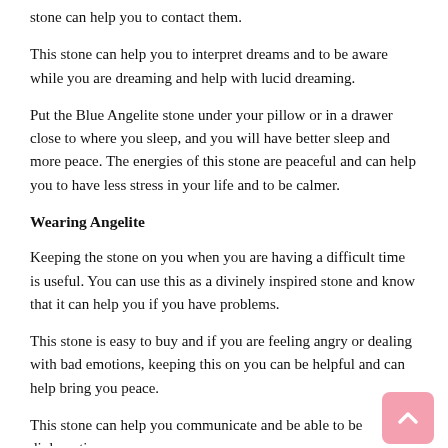stone can help you to contact them.
This stone can help you to interpret dreams and to be aware while you are dreaming and help with lucid dreaming.
Put the Blue Angelite stone under your pillow or in a drawer close to where you sleep, and you will have better sleep and more peace. The energies of this stone are peaceful and can help you to have less stress in your life and to be calmer.
Wearing Angelite
Keeping the stone on you when you are having a difficult time is useful. You can use this as a divinely inspired stone and know that it can help you if you have problems.
This stone is easy to buy and if you are feeling angry or dealing with bad emotions, keeping this on you can be helpful and can help bring you peace.
This stone can help you communicate and be able to be diplomatic